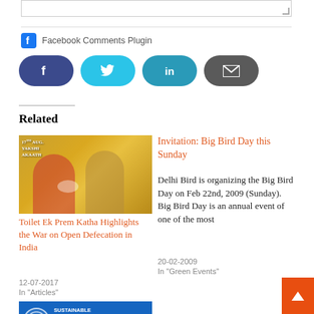[Figure (other): Comment text input box with resize handle]
Facebook Comments Plugin
[Figure (other): Social share buttons: Facebook (f), Twitter (bird), LinkedIn (in), Email (envelope)]
Related
[Figure (photo): Movie poster for Toilet Ek Prem Katha showing bride and groom in wedding attire with text '17th Aug. Yakshi Akaath']
Toilet Ek Prem Katha Highlights the War on Open Defecation in India
12-07-2017
In "Articles"
Invitation: Big Bird Day this Sunday
Delhi Bird is organizing the Big Bird Day on Feb 22nd, 2009 (Sunday). Big Bird Day is an annual event of one of the most
20-02-2009
In "Green Events"
[Figure (photo): Sustainable Development Goals logo with blue background and SDG text]